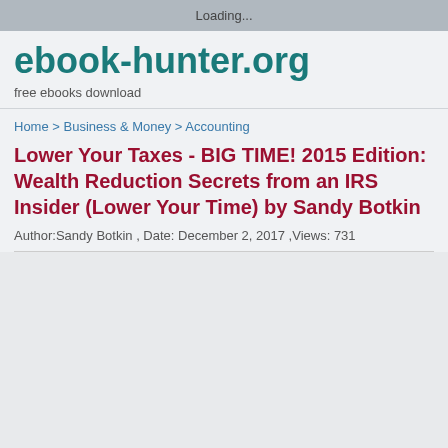Loading...
ebook-hunter.org
free ebooks download
Home > Business & Money > Accounting
Lower Your Taxes - BIG TIME! 2015 Edition: Wealth Reduction Secrets from an IRS Insider (Lower Your Time) by Sandy Botkin
Author:Sandy Botkin , Date: December 2, 2017 ,Views: 731